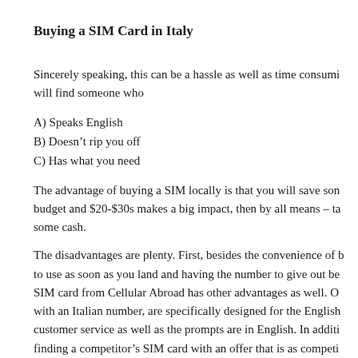Buying a SIM Card in Italy
Sincerely speaking, this can be a hassle as well as time consuming. You will find someone who
A) Speaks English
B) Doesn’t rip you off
C) Has what you need
The advantage of buying a SIM locally is that you will save some money. If you are on a tight budget and $20-$30s makes a big impact, then by all means – take the time and the effort to save some cash.
The disadvantages are plenty. First, besides the convenience of having a SIM card that is ready to use as soon as you land and having the number to give out before you leave home, the SIM card from Cellular Abroad has other advantages as well. Our SIM cards, which come with an Italian number, are specifically designed for the English speaking market. Our customer service as well as the prompts are in English. In addition, you will have difficulty finding a competitor’s SIM card with an offer that is as competitive as the SIM cards we carry.